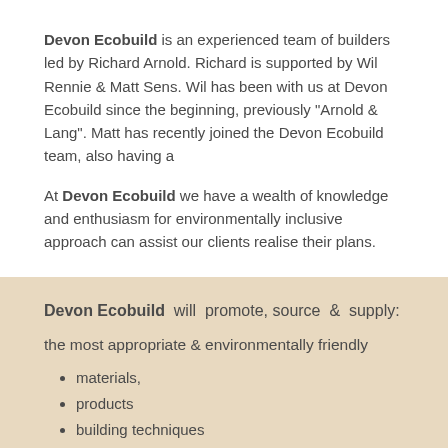Devon Ecobuild is an experienced team of builders led by Richard Arnold. Richard is supported by Wil Rennie & Matt Sens. Wil has been with us at Devon Ecobuild since the beginning, previously "Arnold & Lang". Matt has recently joined the Devon Ecobuild team, also having a
At Devon Ecobuild we have a wealth of knowledge and enthusiasm for environmentally inclusive approach can assist our clients realise their plans.
Devon Ecobuild  will  promote, source  &  supply:
the most appropriate & environmentally friendly
materials,
products
building techniques
So as to provide our clients with a complete package for their build or restoration
During works we would actively:-
recycle materials for reuse on site